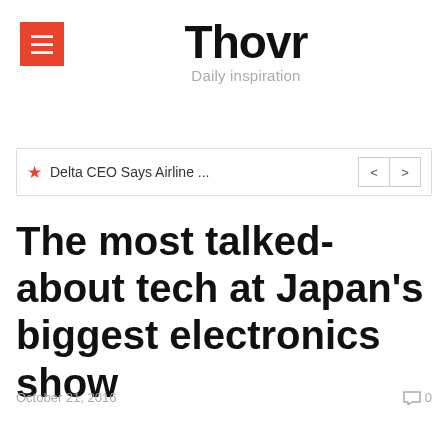Thovr
Daily inspiration
Delta CEO Says Airline ...
The most talked-about tech at Japan's biggest electronics show
October 21, 2016
0